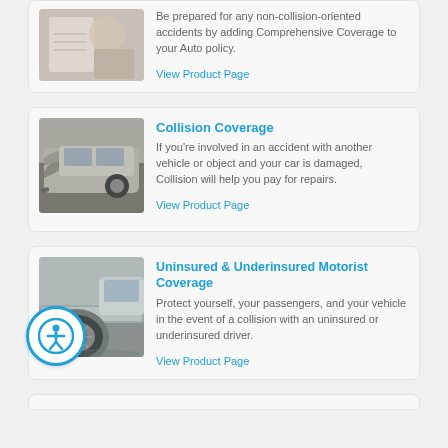[Figure (photo): Person with document, partial card at top of page for Comprehensive Coverage]
Be prepared for any non-collision-oriented accidents by adding Comprehensive Coverage to your Auto policy.
View Product Page
Collision Coverage
[Figure (photo): Damaged car front after collision]
If you're involved in an accident with another vehicle or object and your car is damaged, Collision will help you pay for repairs.
View Product Page
Uninsured & Underinsured Motorist Coverage
[Figure (photo): Close-up of car tire and bumper]
Protect yourself, your passengers, and your vehicle in the event of a collision with an uninsured or underinsured driver.
View Product Page